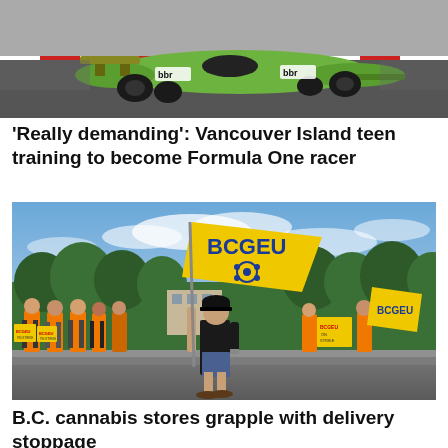[Figure (photo): A green and yellow Formula One style racing kart on a track, with 'bbr' branding visible on the side and rear.]
'Really demanding': Vancouver Island teen training to become Formula One racer
[Figure (photo): A man carrying a large yellow BCGEU flag walks among a crowd of workers in orange safety vests holding yellow strike signs on a sunny day outdoors.]
B.C. cannabis stores grapple with delivery stoppage as BCLRB orders resumption of talks